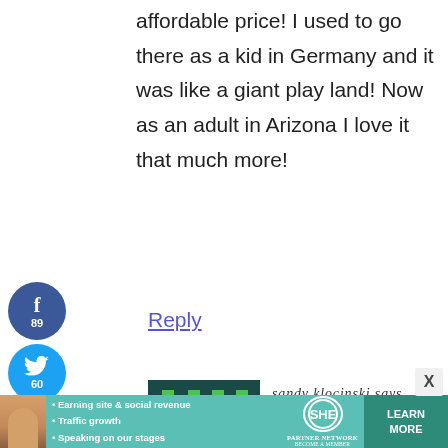affordable price! I used to go there as a kid in Germany and it was like a giant play land! Now as an adult in Arizona I love it that much more!
Reply
[Figure (illustration): Pixel art avatar with green robot/alien figure on dark teal background]
sandy klocinski says
AUGUST 16, 2015 AT 12:00 PM
[Figure (infographic): Social share sidebar with Facebook (89), Twitter (60), Pinterest buttons and 149 SHARES counter]
[Figure (infographic): SHE Partner Network advertisement banner with bullet points: Earning site & social revenue, Traffic growth, Speaking on our stages. LEARN MORE button.]